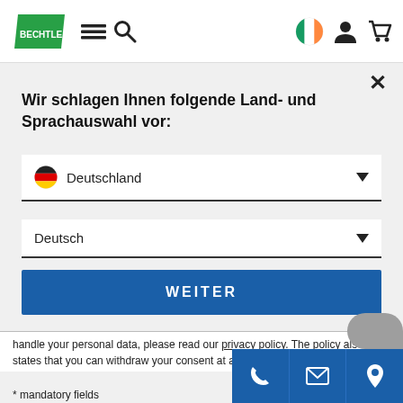[Figure (logo): Bechtle company logo, green parallelogram with white BECHTLE text]
Wir schlagen Ihnen folgende Land- und Sprachauswahl vor:
Deutschland (dropdown)
Deutsch (dropdown)
WEITER
handle your personal data, please read our privacy policy. The policy also states that you can withdraw your consent at any time.
* mandatory fields